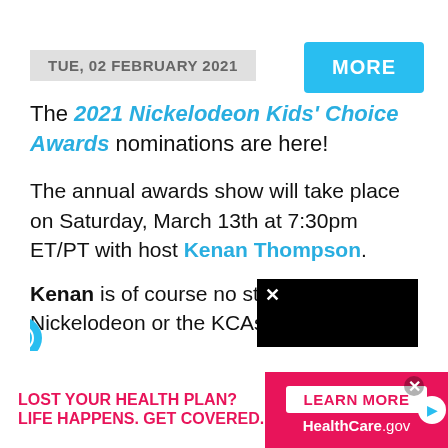TUE, 02 FEBRUARY 2021
MORE
The 2021 Nickelodeon Kids' Choice Awards nominations are here!
The annual awards show will take place on Saturday, March 13th at 7:30pm ET/PT with host Kenan Thompson.
Kenan is of course no stranger to Nickelodeon or the KCAs, as he h
[Figure (other): Advertisement banner: LOST YOUR HEALTH PLAN? LIFE HAPPENS. GET COVERED. LEARN MORE HealthCare.gov]